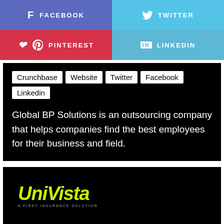[Figure (infographic): Four social media share buttons: Facebook (blue-purple), Twitter (light blue), Pinterest (red), LinkedIn (light blue)]
Crunchbase Website Twitter Facebook Linkedin
Global BP Solutions is an outsourcing company that helps companies find the best employees for their business and field.
[Figure (logo): UniVista logo in yellow-green italic text on black background]